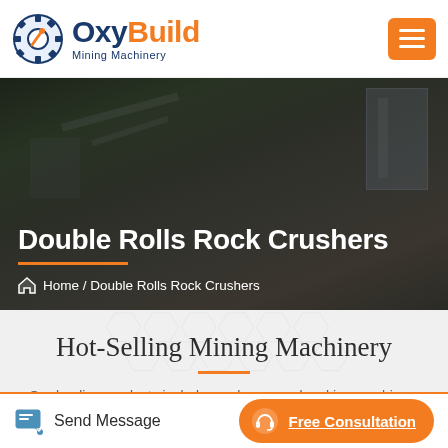[Figure (logo): OxyBuild Mining Machinery logo with gear icon, 'Oxy' in dark blue, 'Build' in orange, subtitle 'Mining Machinery']
[Figure (screenshot): Hamburger menu button (orange background, three white horizontal lines)]
[Figure (photo): Construction/mining site hero image with dark overlay showing industrial equipment and conveyors]
Double Rolls Rock Crushers
Home / Double Rolls Rock Crushers
Hot-Selling Mining Machinery
Our leading products include crushers, sand making machines, pulverizers, mineral processing equipment and building materials
Send Message
Free Consultation